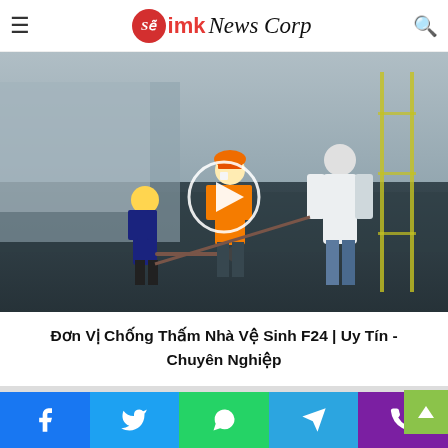Sẽimk News Corp
[Figure (photo): Construction workers applying waterproofing membrane on a rooftop surface. Workers wearing safety gear including orange vests and hard hats. A play button circle overlay is shown in the center of the image.]
Đơn Vị Chống Thấm Nhà Vệ Sinh F24 | Uy Tín - Chuyên Nghiệp
Tin Tức Liên Quan
[Figure (photo): Thumbnail image showing bathroom/plumbing fixtures in dark tones]
[Figure (photo): Thumbnail image showing construction or waterproofing detail]